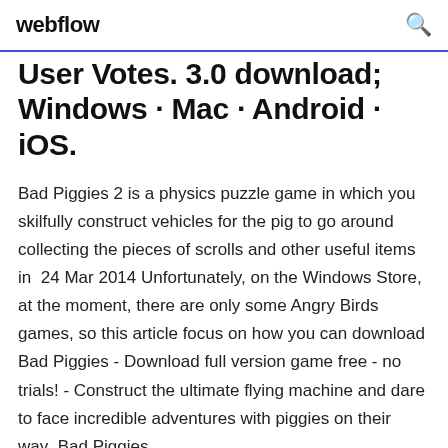webflow
User Votes. 3.0 download; Windows · Mac · Android · iOS.
Bad Piggies 2 is a physics puzzle game in which you skilfully construct vehicles for the pig to go around collecting the pieces of scrolls and other useful items in  24 Mar 2014 Unfortunately, on the Windows Store, at the moment, there are only some Angry Birds games, so this article focus on how you can download  Bad Piggies - Download full version game free - no trials! - Construct the ultimate flying machine and dare to face incredible adventures with piggies on their way  Bad Piggies 2019 offers...